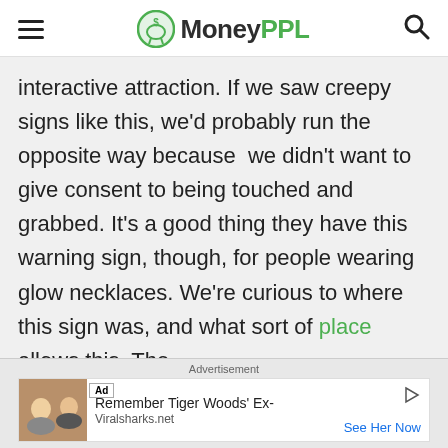MoneyPPL
interactive attraction. If we saw creepy signs like this, we'd probably run the opposite way because  we didn't want to give consent to being touched and grabbed. It's a good thing they have this warning sign, though, for people wearing glow necklaces. We're curious to where this sign was, and what sort of place allows this. The
[Figure (other): Advertisement banner showing Ad badge, image of two people, text 'Remember Tiger Woods' Ex-', source 'Viralsharks.net', call to action 'See Her Now']